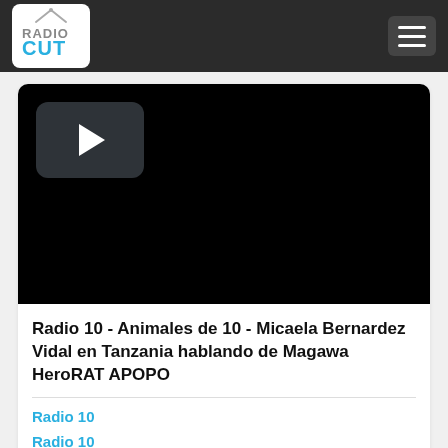RadioCut
[Figure (screenshot): Video player with black background and play button in top-left corner]
Radio 10 - Animales de 10 - Micaela Bernardez Vidal en Tanzania hablando de Magawa HeroRAT APOPO
Radio 10
Radio 10